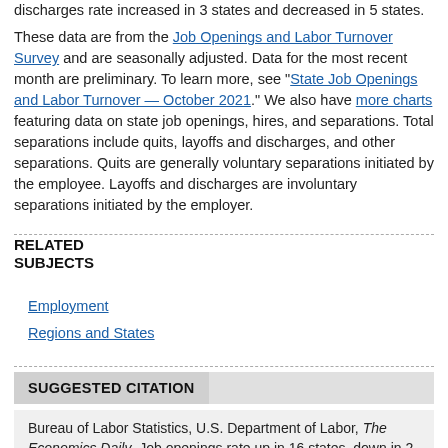discharges rate increased in 3 states and decreased in 5 states. These data are from the Job Openings and Labor Turnover Survey and are seasonally adjusted. Data for the most recent month are preliminary. To learn more, see "State Job Openings and Labor Turnover — October 2021." We also have more charts featuring data on state job openings, hires, and separations. Total separations include quits, layoffs and discharges, and other separations. Quits are generally voluntary separations initiated by the employee. Layoffs and discharges are involuntary separations initiated by the employer.
RELATED SUBJECTS
Employment
Regions and States
SUGGESTED CITATION
Bureau of Labor Statistics, U.S. Department of Labor, The Economics Daily, Job openings rate up in 16 states, down in 2